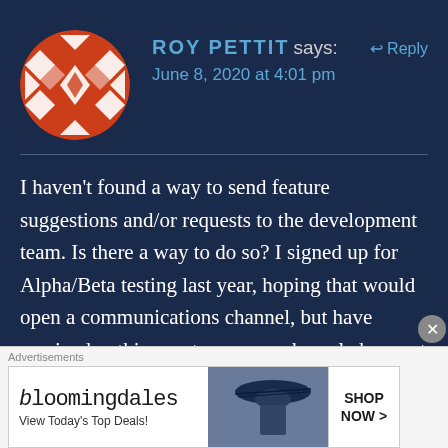[Figure (illustration): Circular avatar with orange and white geometric diamond/cross pattern on dark orange background]
ROY PETTIT says:
↩ Reply
June 8, 2020 at 4:01 pm
I haven't found a way to send feature suggestions and/or requests to the development team. Is there a way to do so? I signed up for Alpha/Beta testing last year, hoping that would open a communications channel, but have received nothing, not even an acknowledgement that I'm on their list. Is there a place to
Advertisements
[Figure (screenshot): Bloomingdale's advertisement banner: bloomingdales logo, View Today's Top Deals!, woman in wide brim hat, SHOP NOW > button]